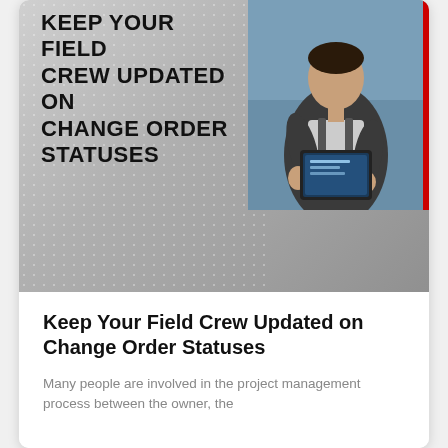[Figure (photo): Hero image showing a person using a tablet device outdoors, with a dot pattern background and red vertical bar accent on the right.]
KEEP YOUR FIELD CREW UPDATED ON CHANGE ORDER STATUSES
Keep Your Field Crew Updated on Change Order Statuses
Many people are involved in the project management process between the owner, the